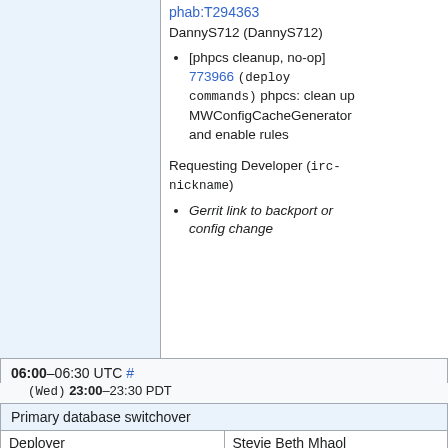chwiki on beta for QA phab:T294363
DannyS712 (DannyS712)
[phpcs cleanup, no-op] 773966 (deploy commands) phpcs: clean up MWConfigCacheGenerator and enable rules
Requesting Developer (irc-nickname)
Gerrit link to backport or config change
06:00–06:30 UTC # (Wed) 23:00–23:30 PDT
|  |  |
| --- | --- |
| Primary database switchover |  |
| Deployer | Stevie Beth Mhaol (kormat), Manuel Arostegui (marostegui) |